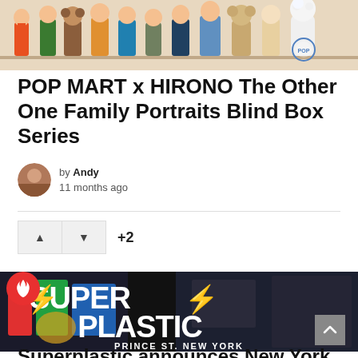[Figure (photo): A row of POP MART x HIRONO collectible figurines in various costumes on a white background]
POP MART x HIRONO The Other One Family Portraits Blind Box Series
by Andy
11 months ago
[Figure (photo): Superplastic store image with large white SUPERPLASTIC logo text, bolt icons, and 'PRINCE ST. NEW YORK' subtitle on dark background. Red hot badge in top-left corner.]
Superplastic announces New York City